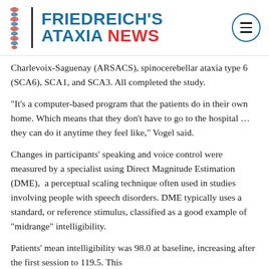FRIEDREICH'S ATAXIA NEWS
Charlevoix-Saguenay (ARSACS), spinocerebellar ataxia type 6 (SCA6), SCA1, and SCA3. All completed the study.
“It’s a computer-based program that the patients do in their own home. Which means that they don’t have to go to the hospital … they can do it anytime they feel like,” Vogel said.
Changes in participants’ speaking and voice control were measured by a specialist using Direct Magnitude Estimation (DME),  a perceptual scaling technique often used in studies involving people with speech disorders. DME typically uses a standard, or reference stimulus, classified as a good example of “midrange” intelligibility.
Patients’ mean intelligibility was 98.0 at baseline, increasing after the first session to 119.5. This